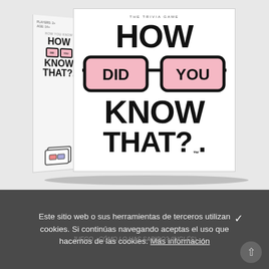[Figure (photo): Product photo of 'How Did You Know That?' board game box. The box has a white background with large black bold text reading HOW, DID YOU (with pink glasses graphic), KNOW, THAT? with TM mark. The left side panel shows a smaller version of the same branding and a cards icon at the bottom.]
Este sitio web o sus herramientas de terceros utilizan cookies. Si continúas navegando aceptas el uso que hacemos de las cookies. Más información
JUEGO ¿CÓMO LO HAS SABIDO? (INGLÉS)